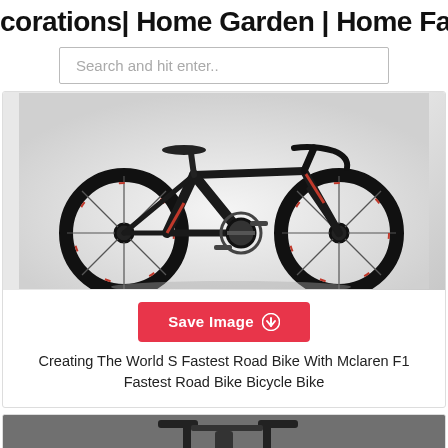corations| Home Garden | Home Fa…
Search and hit enter..
[Figure (photo): Black and red road bike (S-Works style) on a light grey background]
Save Image ⬇
Creating The World S Fastest Road Bike With Mclaren F1 Fastest Road Bike Bicycle Bike
[Figure (photo): Dark bicycle handlebar/stem detail on grey background, partially visible]